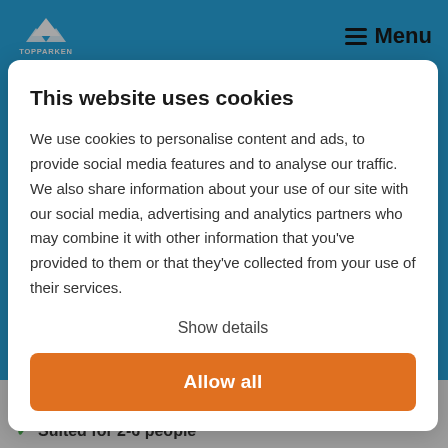TOPPARKEN | Menu
This website uses cookies
We use cookies to personalise content and ads, to provide social media features and to analyse our traffic. We also share information about your use of our site with our social media, advertising and analytics partners who may combine it with other information that you’ve provided to them or that they’ve collected from your use of their services.
Show details
Allow all
Your home near the Efteling
Suited for 2-6 people